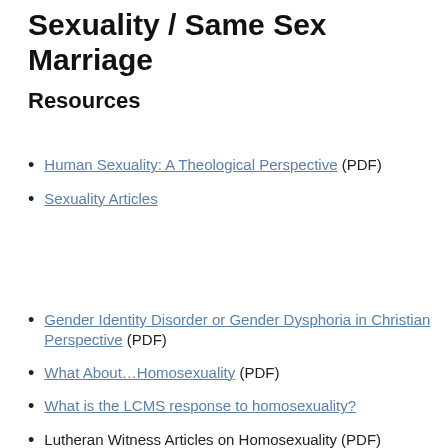Sexuality / Same Sex Marriage
Resources
Human Sexuality: A Theological Perspective (PDF)
Sexuality Articles
Gender Identity Disorder or Gender Dysphoria in Christian Perspective (PDF)
What About…Homosexuality (PDF)
What is the LCMS response to homosexuality?
Lutheran Witness Articles on Homosexuality (PDF)